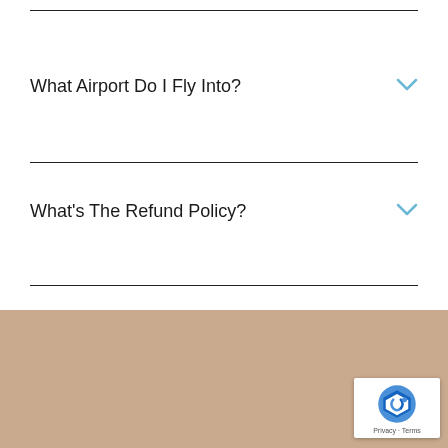What Airport Do I Fly Into?
What's The Refund Policy?
[Figure (other): Tan/beige background section at bottom of page]
[Figure (other): Google reCAPTCHA badge with logo and Privacy - Terms text]